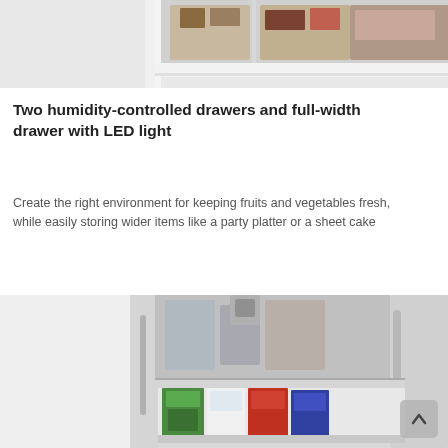[Figure (photo): Top portion of a refrigerator freezer drawer with food items visible inside, white appliance with open drawer showing stored items]
Two humidity-controlled drawers and full-width drawer with LED light
Create the right environment for keeping fruits and vegetables fresh, while easily storing wider items like a party platter or a sheet cake
[Figure (photo): Open refrigerator drawer showing packaged food items, stainless steel appliance with full-width drawer pulled out, items like frozen meal boxes stored inside]